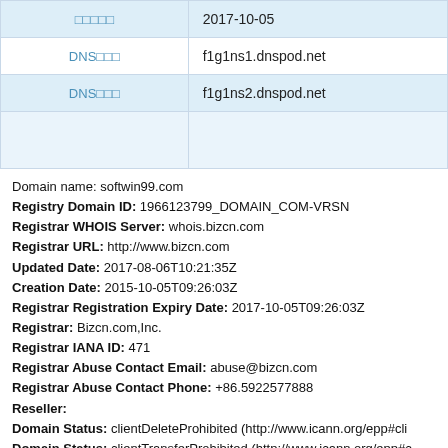| □□□□□ | 2017-10-05 |
| DNS□□□ | f1g1ns1.dnspod.net |
| DNS□□□ | f1g1ns2.dnspod.net |
|  |  |
Domain name: softwin99.com
Registry Domain ID: 1966123799_DOMAIN_COM-VRSN
Registrar WHOIS Server: whois.bizcn.com
Registrar URL: http://www.bizcn.com
Updated Date: 2017-08-06T10:21:35Z
Creation Date: 2015-10-05T09:26:03Z
Registrar Registration Expiry Date: 2017-10-05T09:26:03Z
Registrar: Bizcn.com,Inc.
Registrar IANA ID: 471
Registrar Abuse Contact Email: abuse@bizcn.com
Registrar Abuse Contact Phone: +86.5922577888
Reseller:
Domain Status: clientDeleteProhibited (http://www.icann.org/epp#cli
Domain Status: clientTransferProhibited (http://www.icann.org/epp#c
Registry Registrant ID: Not Available From Registry
Registrant Name: hong ming ma
Registrant Organization: ma hong ming
Registrant Street: xin tian di gou wu cheng
Registrant City: Weifang